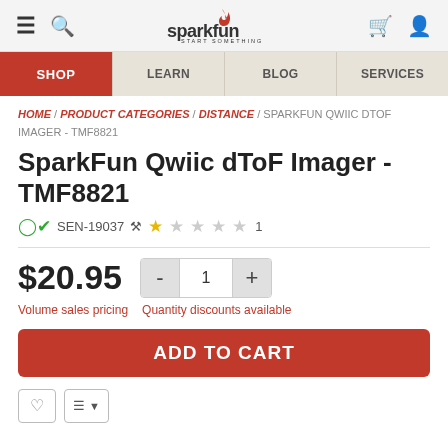[Figure (logo): SparkFun Electronics logo with flame icon and tagline START SOMETHING]
Navigation bar with hamburger menu, search, SparkFun logo, cart, and user icons
SHOP | LEARN | BLOG | SERVICES navigation tabs
HOME / PRODUCT CATEGORIES / DISTANCE / SPARKFUN QWIIC DTOF IMAGER - TMF8821
SparkFun Qwiic dToF Imager - TMF8821
SEN-19037  ★☆☆☆☆ 1
$20.95  Volume sales pricing  Quantity discounts available
ADD TO CART